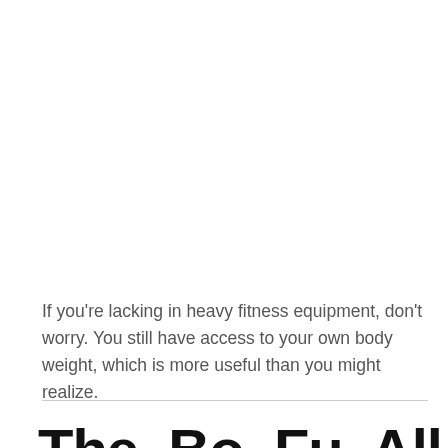If you're lacking in heavy fitness equipment, don't worry. You still have access to your own body weight, which is more useful than you might realize.
The Be... Fu... Al...